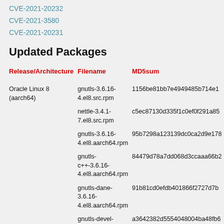CVE-2021-20232
CVE-2021-3580
CVE-2021-20231
Updated Packages
| Release/Architecture | Filename | MD5sum |
| --- | --- | --- |
| Oracle Linux 8 (aarch64) | gnutls-3.6.16-4.el8.src.rpm | 1156be81bb7e4949485b714e1… |
|  | nettle-3.4.1-7.el8.src.rpm | c5ec87130d335f1c0ef0f291a85… |
|  | gnutls-3.6.16-4.el8.aarch64.rpm | 95b7298a123139dc0ca2d9e178… |
|  | gnutls-c++-3.6.16-4.el8.aarch64.rpm | 84479d78a7dd068d3ccaaa66b2… |
|  | gnutls-dane-3.6.16-4.el8.aarch64.rpm | 91b81cd0efdb401866f2727d7b… |
|  | gnutls-devel-3.6.16-4.el8.aarch64.rpm | a3642382d5554048004ba48fb6… |